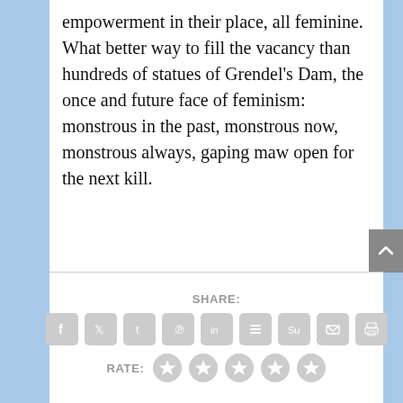empowerment in their place, all feminine. What better way to fill the vacancy than hundreds of statues of Grendel's Dam, the once and future face of feminism: monstrous in the past, monstrous now, monstrous always, gaping maw open for the next kill.
SHARE:
[Figure (infographic): Row of 9 social share icon buttons (Facebook, Twitter, Tumblr, Pinterest, LinkedIn, Buffer, StumbleUpon, Email, Print) rendered as gray rounded squares with white icons.]
RATE:
[Figure (infographic): Five gray star rating icons in a row.]